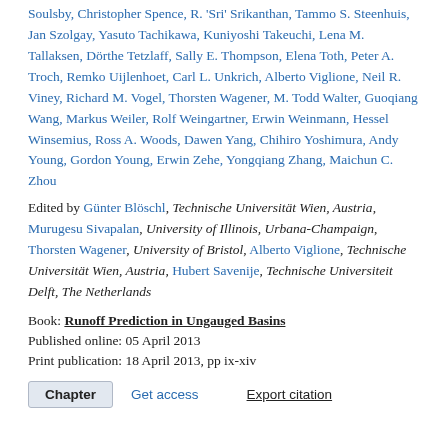Soulsby, Christopher Spence, R. 'Sri' Srikanthan, Tammo S. Steenhuis, Jan Szolgay, Yasuto Tachikawa, Kuniyoshi Takeuchi, Lena M. Tallaksen, Dörthe Tetzlaff, Sally E. Thompson, Elena Toth, Peter A. Troch, Remko Uijlenhoet, Carl L. Unkrich, Alberto Viglione, Neil R. Viney, Richard M. Vogel, Thorsten Wagener, M. Todd Walter, Guoqiang Wang, Markus Weiler, Rolf Weingartner, Erwin Weinmann, Hessel Winsemius, Ross A. Woods, Dawen Yang, Chihiro Yoshimura, Andy Young, Gordon Young, Erwin Zehe, Yongqiang Zhang, Maichun C. Zhou
Edited by Günter Blöschl, Technische Universität Wien, Austria, Murugesu Sivapalan, University of Illinois, Urbana-Champaign, Thorsten Wagener, University of Bristol, Alberto Viglione, Technische Universität Wien, Austria, Hubert Savenije, Technische Universiteit Delft, The Netherlands
Book: Runoff Prediction in Ungauged Basins
Published online: 05 April 2013
Print publication: 18 April 2013, pp ix-xiv
Chapter | Get access | Export citation